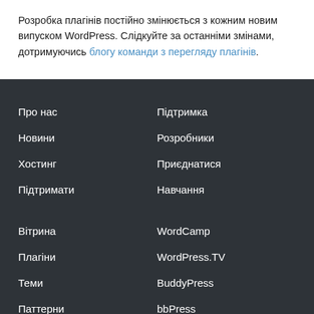Розробка плагінів постійно змінюється з кожним новим випуском WordPress. Слідкуйте за останніми змінами, дотримуючись блогу команди з перегляду плагінів.
Про нас
Новини
Хостинг
Підтримати
Підтримка
Розробники
Приєднатися
Навчання
Вітрина
Плагіни
Теми
Паттерни
WordCamp
WordPress.TV
BuddyPress
bbPress